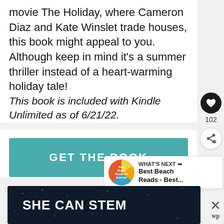movie The Holiday, where Cameron Diaz and Kate Winslet trade houses, this book might appeal to you. Although keep in mind it's a summer thriller instead of a heart-warming holiday tale!
This book is included with Kindle Unlimited as of 6/21/22.
GET THE BOOK
102
WHAT'S NEXT → Best Beach Reads - Best...
SHE CAN STEM